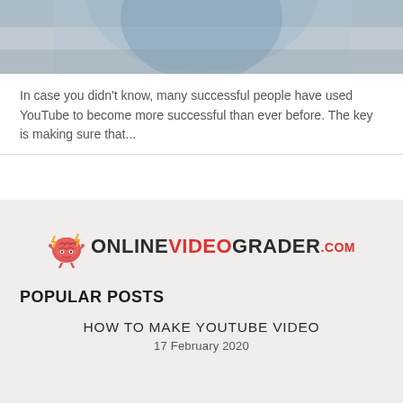[Figure (photo): Partial view of a person in a blue shirt, photographed from chest up with hands raised near face, against a wooden background. Only bottom portion of the image is visible.]
In case you didn't know, many successful people have used YouTube to become more successful than ever before. The key is making sure that...
[Figure (logo): OnlineVideoGrader.com logo featuring a cartoon brain mascot with lightning bolts on the left, followed by bold text ONLINEVIDEOGRADER in dark and red, and .COM in smaller red text.]
POPULAR POSTS
HOW TO MAKE YOUTUBE VIDEO
17 February 2020